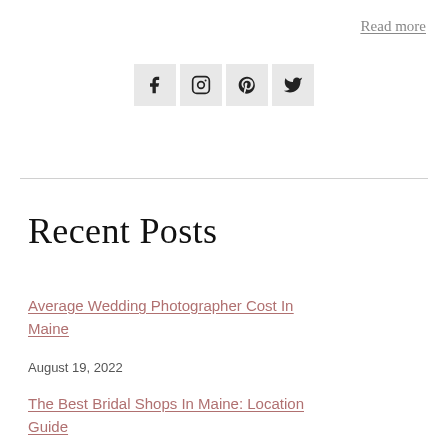Read more
[Figure (illustration): Social media icons: Facebook, Instagram, Pinterest, Twitter in grey square boxes]
Recent Posts
Average Wedding Photographer Cost In Maine
August 19, 2022
The Best Bridal Shops In Maine: Location Guide